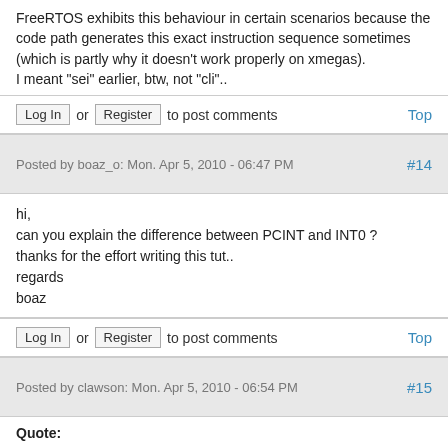FreeRTOS exhibits this behaviour in certain scenarios because the code path generates this exact instruction sequence sometimes (which is partly why it doesn't work properly on xmegas).
I meant "sei" earlier, btw, not "cli"..
Log In or Register to post comments   Top
Posted by boaz_o: Mon. Apr 5, 2010 - 06:47 PM   #14
hi,
can you explain the difference between PCINT and INT0 ?
thanks for the effort writing this tut..
regards
boaz
Log In or Register to post comments   Top
Posted by clawson: Mon. Apr 5, 2010 - 06:54 PM   #15
Quote:
can you explain the difference between PCINT and INT0 ?